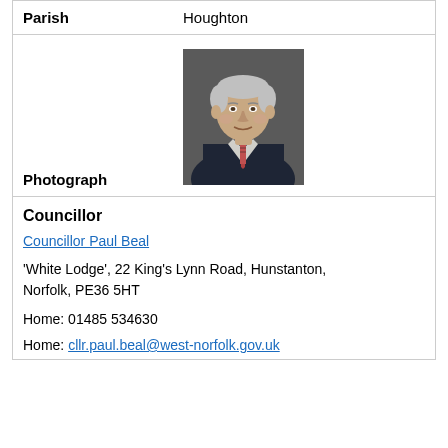| Parish | Houghton |
| --- | --- |
[Figure (photo): Headshot photograph of Councillor Paul Beal, an older man in a dark suit with a patterned tie, grey hair, against a dark grey background.]
Photograph
Councillor
Councillor Paul Beal
'White Lodge', 22 King's Lynn Road, Hunstanton, Norfolk, PE36 5HT
Home: 01485 534630
Home: cllr.paul.beal@west-norfolk.gov.uk